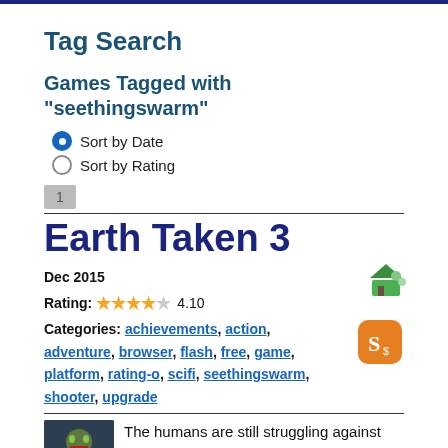Tag Search
Games Tagged with "seethingswarm"
Sort by Date
Sort by Rating
1
Earth Taken 3
Dec 2015
Rating: 4.10
Categories: achievements, action, adventure, browser, flash, free, game, platform, rating-o, scifi, seethingswarm, shooter, upgrade
The humans are still struggling against the alien race that conquered the earth. With poisonous air, radiation leaks, alien beast, mecha suits, and space ships there doesn't